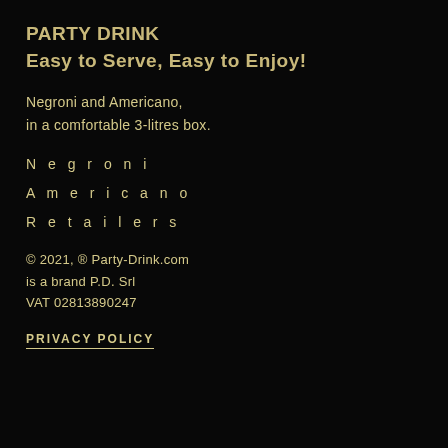PARTY DRINK
Easy to Serve, Easy to Enjoy!
Negroni and Americano,
in a comfortable 3-litres box.
Negroni
Americano
Retailers
© 2021, ® Party-Drink.com
is a brand P.D. Srl
VAT 02813890247
PRIVACY POLICY